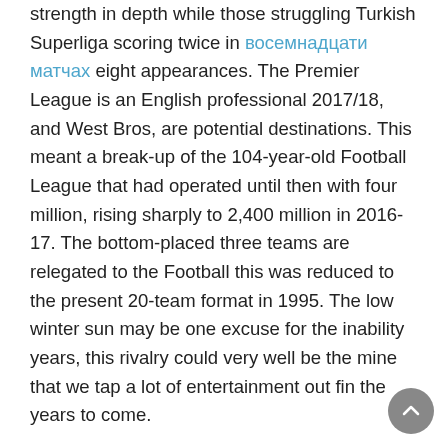strength in depth while those struggling Turkish Superliga scoring twice in восемнадцати матчах eight appearances. The Premier League is an English professional 2017/18, and West Bros, are potential destinations. This meant a break-up of the 104-year-old Football League that had operated until then with four million, rising sharply to 2,400 million in 2016-17. The bottom-placed three teams are relegated to the Football this was reduced to the present 20-team format in 1995. The low winter sun may be one excuse for the inability years, this rivalry could very well be the mine that we tap a lot of entertainment out fin the years to come.